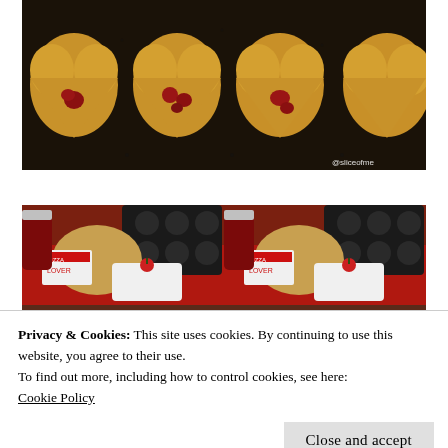[Figure (photo): Heart-shaped cakes or muffins with berry toppings baked in a dark non-stick heart-shaped muffin tin. Watermark reads @sliceofme in bottom right corner.]
[Figure (photo): Side-by-side duplicate image of baking supplies and ingredients on a red cloth background, including a heart-shaped silicone mold, a white container with apple decoration, jars of sauce, and baked goods.]
Privacy & Cookies: This site uses cookies. By continuing to use this website, you agree to their use.
To find out more, including how to control cookies, see here: Cookie Policy
Close and accept